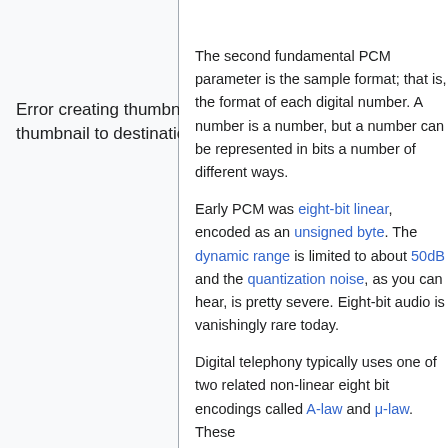Discuss this section
Error creating thumbnail: Unable to save thumbnail to destination
The second fundamental PCM parameter is the sample format; that is, the format of each digital number. A number is a number, but a number can be represented in bits a number of different ways.
Early PCM was eight-bit linear, encoded as an unsigned byte. The dynamic range is limited to about 50dB and the quantization noise, as you can hear, is pretty severe. Eight-bit audio is vanishingly rare today.
Digital telephony typically uses one of two related non-linear eight bit encodings called A-law and μ-law. These